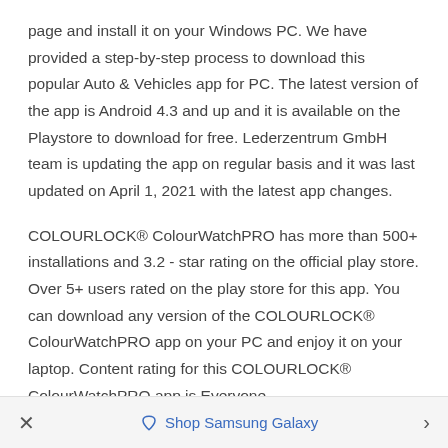page and install it on your Windows PC. We have provided a step-by-step process to download this popular Auto & Vehicles app for PC. The latest version of the app is Android 4.3 and up and it is available on the Playstore to download for free. Lederzentrum GmbH team is updating the app on regular basis and it was last updated on April 1, 2021 with the latest app changes.
COLOURLOCK® ColourWatchPRO has more than 500+ installations and 3.2 - star rating on the official play store. Over 5+ users rated on the play store for this app. You can download any version of the COLOURLOCK® ColourWatchPRO app on your PC and enjoy it on your laptop. Content rating for this COLOURLOCK® ColourWatchPRO app is Everyone.
× ♦ Shop Samsung Galaxy ^